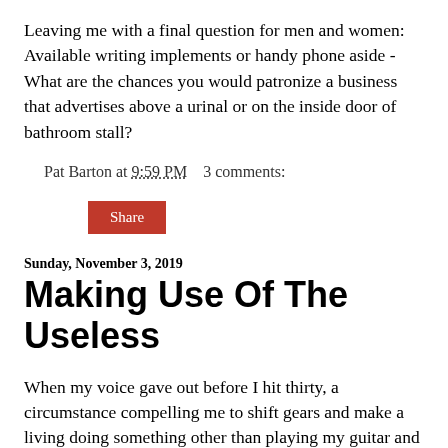Leaving me with a final question for men and women: Available writing implements or handy phone aside - What are the chances you would patronize a business that advertises above a urinal or on the inside door of bathroom stall?
Pat Barton at 9:59 PM   3 comments:
Share
Sunday, November 3, 2019
Making Use Of The Useless
When my voice gave out before I hit thirty, a circumstance compelling me to shift gears and make a living doing something other than playing my guitar and singing, an early working fantasy was to become a radio DJ. My logic, unassailable to me at the time, went like this: I've been a musician most of my life; I know shit. Who better to play records and talk in between? Previous work experience,